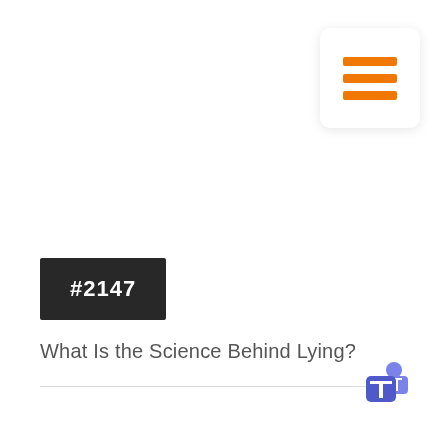[Figure (illustration): Hamburger menu icon — three horizontal orange bars on a white rounded square with shadow]
#2147
What Is the Science Behind Lying?
[Figure (logo): Microsoft Teams logo — colorful T icon in blue/purple tones]